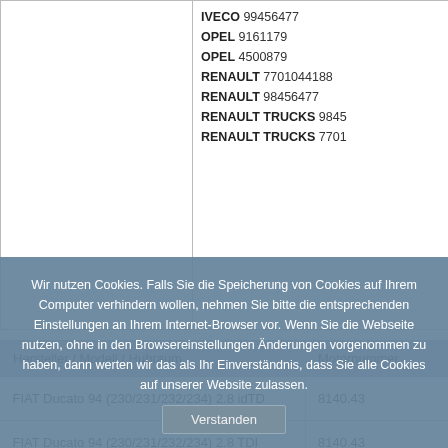|  | Motornummer |
| --- | --- |
|  | IVECO 99456477
OPEL 9161179
OPEL 4500879
RENAULT 7701044188
RENAULT 98456477
RENAULT TRUCKS 9845...
RENAULT TRUCKS 7701... |
| Hersteller / Modell / Hubraum | Motornummer |
| --- | --- |
| FIAT Ducato 94 (230/231/232/234) 2.8 idTD | 8140.43 |
| FIAT Ducato 94 (230/231/232/234) 2.8 TDI | 8140.43 |
| IVECO Daily III 35.10 Turbo | 8140.23 |
Wir nutzen Cookies. Falls Sie die Speicherung von Cookies auf Ihrem Computer verhindern wollen, nehmen Sie bitte die entsprechenden Einstellungen an Ihrem Internet-Browser vor. Wenn Sie die Webseite nutzen, ohne in den Browsereinstellungen Änderungen vorgenommen zu haben, dann werten wir das als Ihr Einverständnis, dass Sie alle Cookies auf unserer Website zulassen.